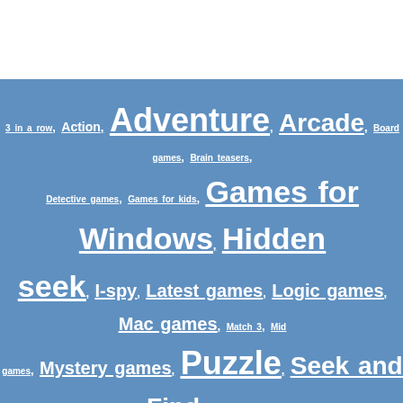3 in a row, Action, Adventure, Arcade, Board games, Brain teasers, Detective games, Games for kids, Games for Windows, Hidden object, Hide and seek, I-spy, Latest games, Logic games, Mac games, Match 3, Midweek games, Mystery games, Puzzle, Seek and Find, Simulation, Time management